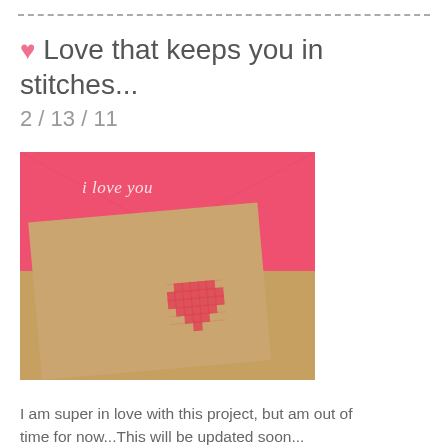💗 Love that keeps you in stitches... 2 / 13 / 11
[Figure (photo): Photo of a handmade cross-stitch Valentine card on kraft paper with a red cross-stitched heart, placed on a red envelope that reads 'i love you' in script, on a wooden surface.]
I am super in love with this project, but am out of time for now...This will be updated soon...